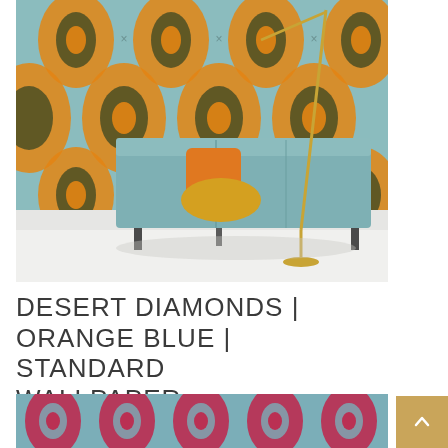[Figure (photo): Room scene showing a teal/blue velvet sofa with orange and yellow pillows against a bold geometric orange and teal ikat-pattern wallpaper called Desert Diamonds. A gold floor lamp stands beside the sofa on a white floor.]
DESERT DIAMONDS | ORANGE BLUE | STANDARD WALLPAPER
[Figure (photo): Close-up swatch of a pink/magenta and teal geometric diamond pattern wallpaper.]